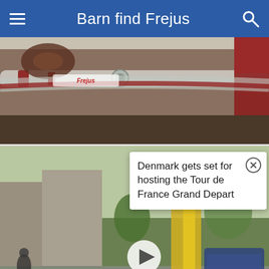Barn find Frejus
[Figure (photo): Close-up of a vintage Frejus bicycle frame top tube and components, red and chrome details visible]
[Figure (screenshot): Video thumbnail showing a cycling street scene in Denmark with subtitle text about Denmark cycling statistics and a play button overlay]
Denmark gets set for hosting the Tour de France Grand Depart
[Figure (photo): Vintage red and white Frejus racing bicycle leaning against a grey tarp-covered object on a concrete floor, with the Frejus brand name visible on the downtube]